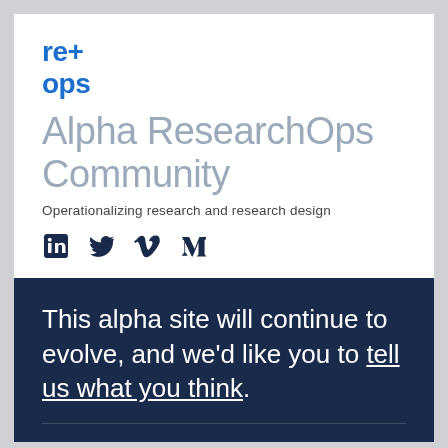[Figure (logo): re+ops logo in bold blue text with two lines: 're+' and 'ops']
Alpha ResearchOps Community
Operationalizing research and research design
[Figure (infographic): Row of four social media icons: LinkedIn, Twitter, Vimeo, Medium — all in dark navy]
This alpha site will continue to evolve, and we'd like you to tell us what you think.